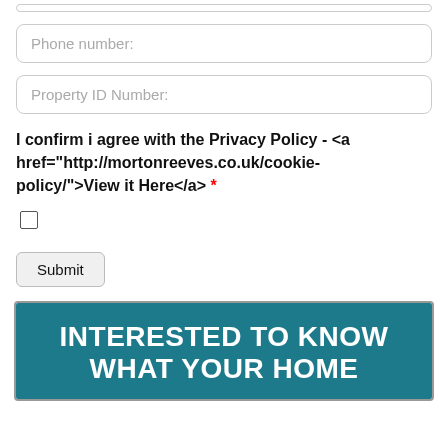Phone number:
Property ID Number:
I confirm i agree with the Privacy Policy - <a href="http://mortonreeves.co.uk/cookie-policy/">View it Here</a> *
[checkbox]
Submit
[Figure (other): Promotional banner with teal background and white bold text reading INTERESTED TO KNOW WHAT YOUR HOME]